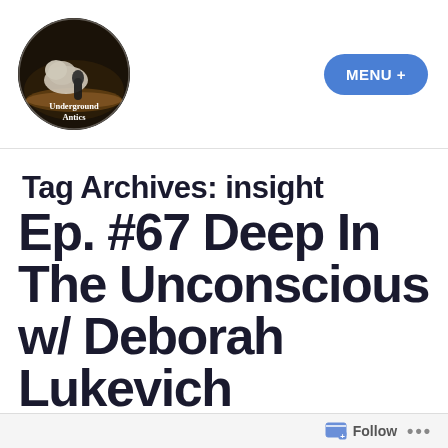[Figure (logo): Underground Antics podcast logo: circular image with a cat lying on a wooden surface holding a microphone, dark background, text 'Underground Antics' at bottom]
MENU +
Tag Archives: insight
Ep. #67 Deep In The Unconscious w/ Deborah Lukevieh
Follow ...